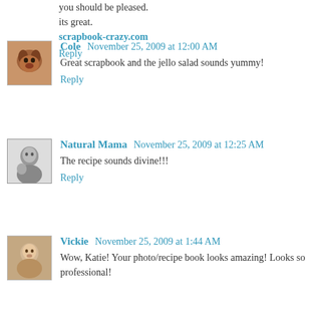you should be pleased.
its great.
scrapbook-crazy.com
Reply
Cole  November 25, 2009 at 12:00 AM
Great scrapbook and the jello salad sounds yummy!
Reply
Natural Mama  November 25, 2009 at 12:25 AM
The recipe sounds divine!!!
Reply
Vickie  November 25, 2009 at 1:44 AM
Wow, Katie! Your photo/recipe book looks amazing! Looks so professional!